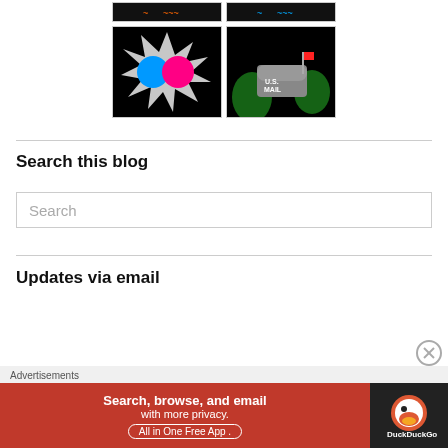[Figure (photo): Two thumbnail images at top showing app icons with colorful designs on black backgrounds]
[Figure (photo): Two larger thumbnail images: left shows Flickr logo (blue and pink circles) on burst background, right shows US mailbox with green plants on black background]
Search this blog
[Figure (screenshot): Search input box with placeholder text 'Search']
Updates via email
[Figure (screenshot): Advertisement banner: DuckDuckGo ad reading 'Search, browse, and email with more privacy. All in One Free App' with DuckDuckGo logo on dark right side]